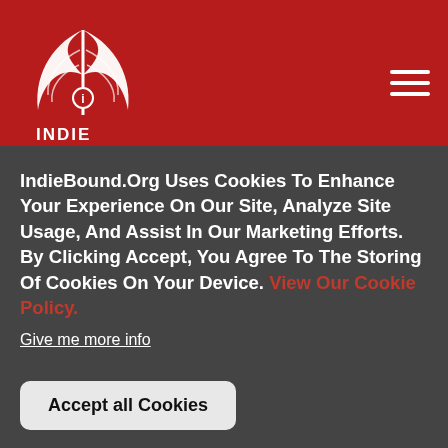[Figure (logo): IndieBound logo — white feather/pen illustration with INDIE BOUND text below, on red background]
Description
“Come, come! I’m sick to death of this particular self. I want another.”
As his tale begins, Orlando is a passionate sixteen-year-old nobleman whose days are spent in rowdy
IndieBound.Org Uses Cookies To Enhance Your Experience On Our Site, Analyze Site Usage, And Assist In Our Marketing Efforts. By Clicking Accept, You Agree To The Storing Of Cookies On Your Device. View Our Cookie Policy.
Give me more info
Accept all Cookies